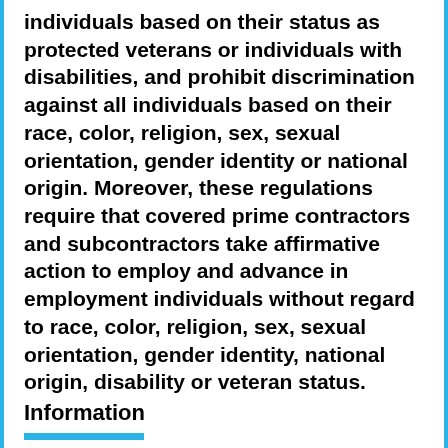individuals based on their status as protected veterans or individuals with disabilities, and prohibit discrimination against all individuals based on their race, color, religion, sex, sexual orientation, gender identity or national origin. Moreover, these regulations require that covered prime contractors and subcontractors take affirmative action to employ and advance in employment individuals without regard to race, color, religion, sex, sexual orientation, gender identity, national origin, disability or veteran status.
Information